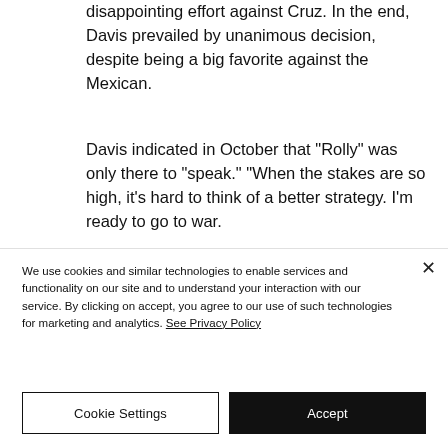disappointing effort against Cruz. In the end, Davis prevailed by unanimous decision, despite being a big favorite against the Mexican.
Davis indicated in October that "Rolly" was only there to "speak." "When the stakes are so high, it's hard to think of a better strategy. I'm ready to go to war.
We use cookies and similar technologies to enable services and functionality on our site and to understand your interaction with our service. By clicking on accept, you agree to our use of such technologies for marketing and analytics. See Privacy Policy